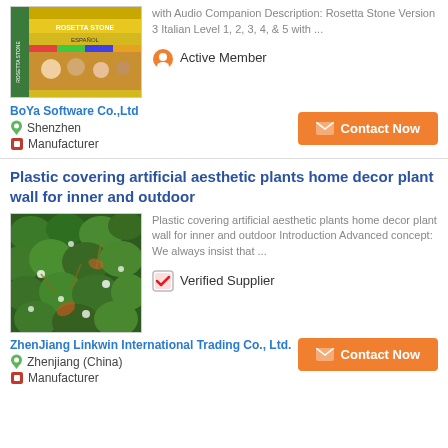with Audio Companion Description: Rosetta Stone Version 3 Italian Level 1, 2, 3, 4, & 5 with ...
Active Member
BoYa Software Co.,Ltd
Shenzhen
Manufacturer
Plastic covering artificial aesthetic plants home decor plant wall for inner and outdoor
[Figure (photo): Green artificial plant wall panel with mixed foliage]
Plastic covering artificial aesthetic plants home decor plant wall for inner and outdoor Introduction Advanced concept: We always insist that ...
Verified Supplier
ZhenJiang Linkwin International Trading Co., Ltd.
Zhenjiang (China)
Manufacturer